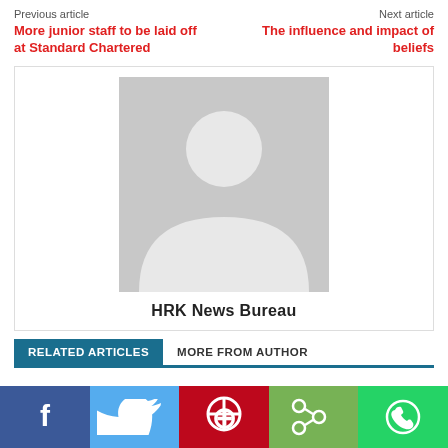Previous article    Next article
More junior staff to be laid off at Standard Chartered
The influence and impact of beliefs
[Figure (illustration): Generic author avatar placeholder image showing a silhouette of a person on grey background]
HRK News Bureau
RELATED ARTICLES   MORE FROM AUTHOR
[Figure (infographic): Social media share bar with Facebook, Twitter, Pinterest, share, and WhatsApp icons]